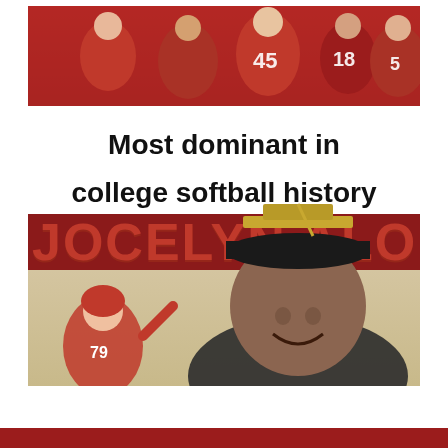[Figure (photo): Composite sports graphic for Jocelyn Alo. Top section shows a team celebration photo with players in red uniforms (numbers 45, 18, 5 visible). Middle white section contains bold black text 'Most dominant in college softball history'. Below is a dark red/maroon banner with large block letters 'JOCELYN ALO'. Bottom section shows a smiling woman wearing a black cap with gold mortar board on top, in a beige/tan background. To the left is a smaller image of a softball player in pink uniform (#79).]
[Figure (other): Solid dark red/crimson horizontal bar at the very bottom of the page.]